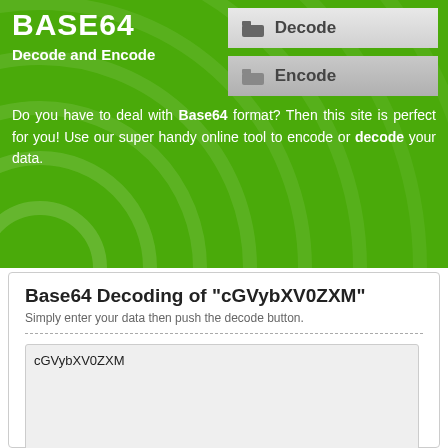BASE64
Decode and Encode
[Figure (screenshot): Decode button - dark grey folder icon with label Decode]
[Figure (screenshot): Encode button - grey folder icon with label Encode]
Do you have to deal with Base64 format? Then this site is perfect for you! Use our super handy online tool to encode or decode your data.
Base64 Decoding of "cGVybXV0ZXM"
Simply enter your data then push the decode button.
cGVybXV0ZXM